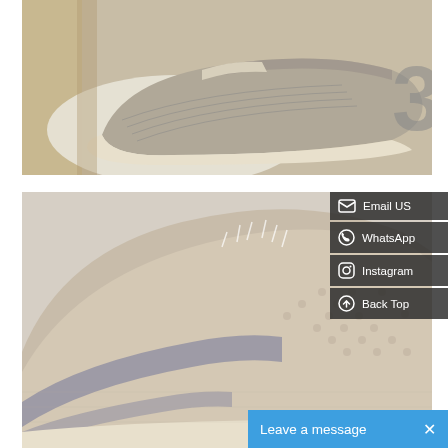[Figure (photo): Adidas Yeezy Boost 350 sneaker in grey/cream knit fabric, shown in its cardboard box with tissue paper, box showing large '3' numeral on the side.]
[Figure (photo): Close-up top view of Adidas Yeezy Boost 350 sneaker toe area showing detailed grey and cream multicolor Primeknit weave texture on light background.]
Email US
WhatsApp
Instagram
Back Top
Leave a message